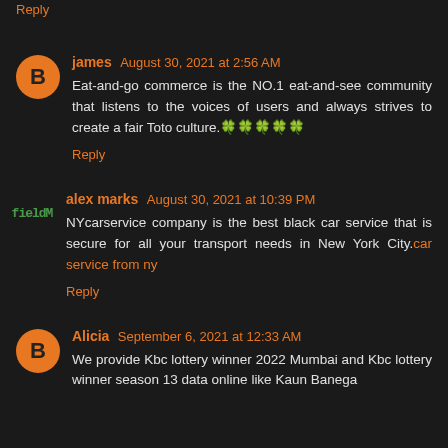Reply
james August 30, 2021 at 2:56 AM
Eat-and-go commerce is the NO.1 eat-and-see community that listens to the voices of users and always strives to create a fair Toto culture.🍀🍀🍀🍀🍀
Reply
alex marks August 30, 2021 at 10:39 PM
NYcarservice company is the best black car service that is secure for all your transport needs in New York City.car service from ny
Reply
Alicia September 6, 2021 at 12:33 AM
We provide Kbc lottery winner 2022 Mumbai and Kbc lottery winner season 13 data online like Kaun Banega